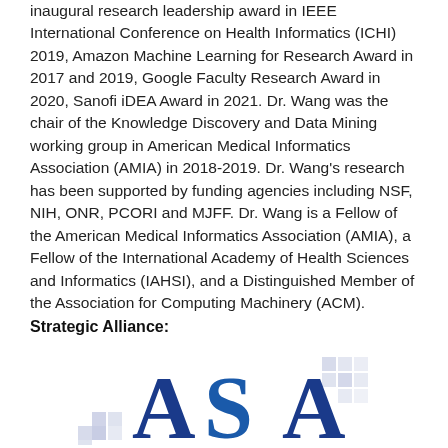inaugural research leadership award in IEEE International Conference on Health Informatics (ICHI) 2019, Amazon Machine Learning for Research Award in 2017 and 2019, Google Faculty Research Award in 2020, Sanofi iDEA Award in 2021. Dr. Wang was the chair of the Knowledge Discovery and Data Mining working group in American Medical Informatics Association (AMIA) in 2018-2019. Dr. Wang's research has been supported by funding agencies including NSF, NIH, ONR, PCORI and MJFF. Dr. Wang is a Fellow of the American Medical Informatics Association (AMIA), a Fellow of the International Academy of Health Sciences and Informatics (IAHSI), and a Distinguished Member of the Association for Computing Machinery (ACM).
Strategic Alliance:
[Figure (logo): ASA logo — large blue letters A, S, A with decorative blue square grid pattern elements in the background]